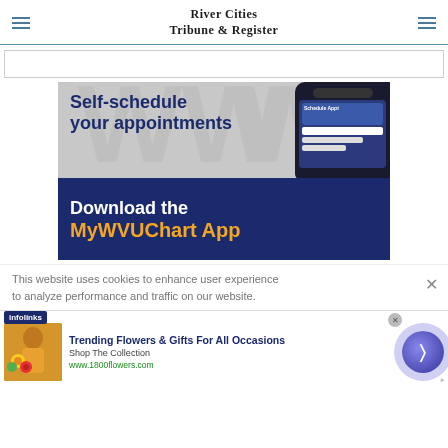River Cities Tribune & Register
[Figure (illustration): Advertisement banner for MyWVUChart App: 'Self-schedule your appointments / Download the MyWVUChart App' with a phone mockup on the right side. Top half has gray/light background with dark blue bold text, bottom half has dark navy blue background with white 'Download the' and gold/yellow 'MyWVUChart App' text.]
This website uses cookies to enhance user experience to analyze performance and traffic on our website.
[Figure (infographic): Infolinks badge and a bottom banner advertisement: 'Trending Flowers & Gifts For All Occasions / Shop The Collection / www.1800flowers.com' with a woman holding flowers image on the left and a purple circular arrow button on the right.]